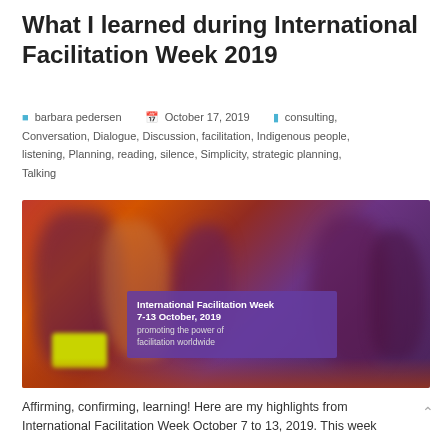What I learned during International Facilitation Week 2019
barbara pedersen  October 17, 2019  consulting, Conversation, Dialogue, Discussion, facilitation, Indigenous people, listening, Planning, reading, silence, Simplicity, strategic planning, Talking
[Figure (photo): Blurry photo of people in a room with warm orange/red/purple lighting, with an overlay banner reading 'International Facilitation Week 7-13 October, 2019 promoting the power of facilitation worldwide']
Affirming, confirming, learning! Here are my highlights from International Facilitation Week October 7 to 13, 2019. This week